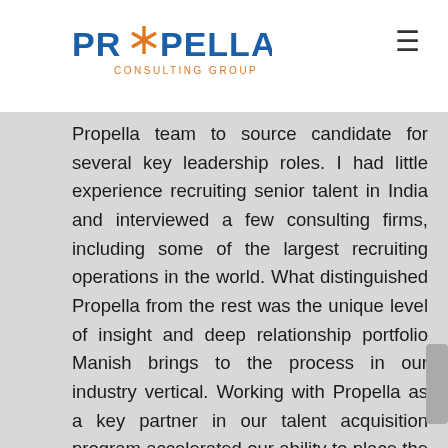Propella Consulting Group logo and navigation
Propella team to source candidate for several key leadership roles. I had little experience recruiting senior talent in India and interviewed a few consulting firms, including some of the largest recruiting operations in the world. What distinguished Propella from the rest was the unique level of insight and deep relationship portfolio Manish brings to the process in our industry vertical. Working with Propella as a key partner in our talent acquisition program accelerated our ability to place the best people from the market in strategic roles in a way that aligned the experience and potential of